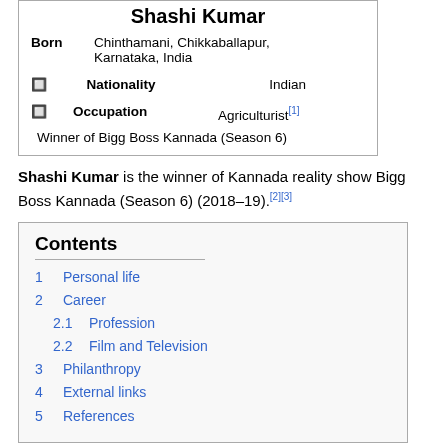| Shashi Kumar |  |
| Born | Chinthamani, Chikkaballapur, Karnataka, India |
| Nationality | Indian |
| Occupation | Agriculturist[1] |
|  | Winner of Bigg Boss Kannada (Season 6) |
Shashi Kumar is the winner of Kannada reality show Bigg Boss Kannada (Season 6) (2018–19).[2][3]
Contents
1  Personal life
2  Career
2.1  Profession
2.2  Film and Television
3  Philanthropy
4  External links
5  References